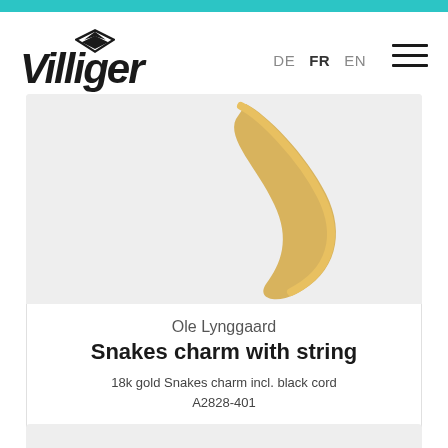Villiger — DE FR EN
[Figure (photo): Product image of Ole Lynggaard Snakes charm on light gray background, showing a partial gold snake charm shape]
Ole Lynggaard
Snakes charm with string
18k gold Snakes charm incl. black cord
A2828-401
CHF 430